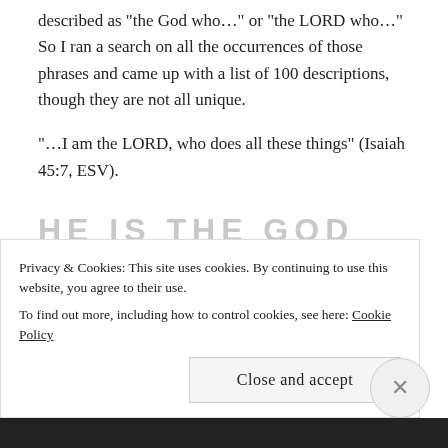described as “the God who…” or “the LORD who…” So I ran a search on all the occurrences of those phrases and came up with a list of 100 descriptions, though they are not all unique.
“…I am the LORD, who does all these things” (Isaiah 45:7, ESV).
HE IS THE GOD WHO...
answers me in the day of my distress and has been with me wherever I have gone (Genesis 35:3)
Privacy & Cookies: This site uses cookies. By continuing to use this website, you agree to their use.
To find out more, including how to control cookies, see here: Cookie Policy
Close and accept